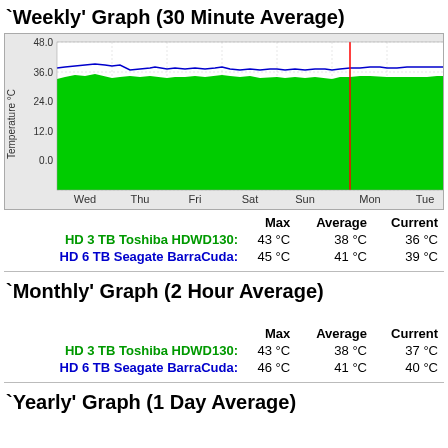'Weekly' Graph (30 Minute Average)
[Figure (area-chart): Area chart showing HD temperature over one week. Green filled area (HD 3 TB Toshiba HDWD130) and blue line (HD 6 TB Seagate BarraCuda). Y-axis: 0.0 to 48.0. X-axis: Wed, Thu, Fri, Sat, Sun, Mon, Tue. Vertical red line near Sun/Mon boundary.]
|  | Max | Average | Current |
| --- | --- | --- | --- |
| HD 3 TB Toshiba HDWD130: | 43 °C | 38 °C | 36 °C |
| HD 6 TB Seagate BarraCuda: | 45 °C | 41 °C | 39 °C |
'Monthly' Graph (2 Hour Average)
|  | Max | Average | Current |
| --- | --- | --- | --- |
| HD 3 TB Toshiba HDWD130: | 43 °C | 38 °C | 37 °C |
| HD 6 TB Seagate BarraCuda: | 46 °C | 41 °C | 40 °C |
'Yearly' Graph (1 Day Average)